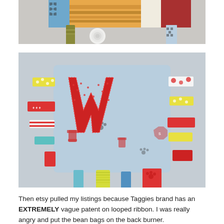[Figure (photo): Close-up photo of a handmade baby taggy blanket/toy with colorful looped ribbons and patterned fabric including stripes, houndstooth, and solid colors, against a light background. Ribbons include grosgrain, satin, and patterned varieties.]
[Figure (photo): Close-up photo of a handmade taggy blanket with a large red letter W appliqued on light blue fabric printed with dog-themed motifs (fire hydrants, paw prints). Colorful looped ribbons in red, yellow, teal, white, and multi-pattern fabrics surround all edges.]
Then etsy pulled my listings because Taggies brand has an EXTREMELY vague patent on looped ribbon. I was really angry and put the bean bags on the back burner.